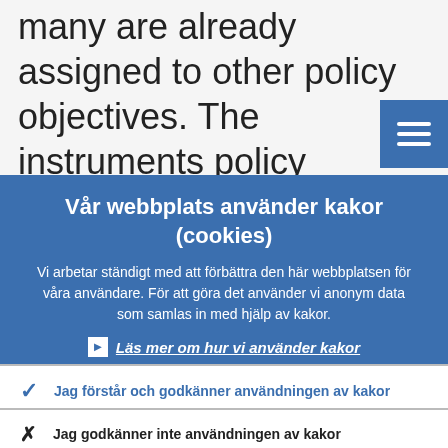many are already assigned to other policy objectives. The instruments policy makers use will largely depend on the objective th…
Vår webbplats använder kakor (cookies)
Vi arbetar ständigt med att förbättra den här webbplatsen för våra användare. För att göra det använder vi anonym data som samlas in med hjälp av kakor.
Läs mer om hur vi använder kakor
Jag förstår och godkänner användningen av kakor
Jag godkänner inte användningen av kakor